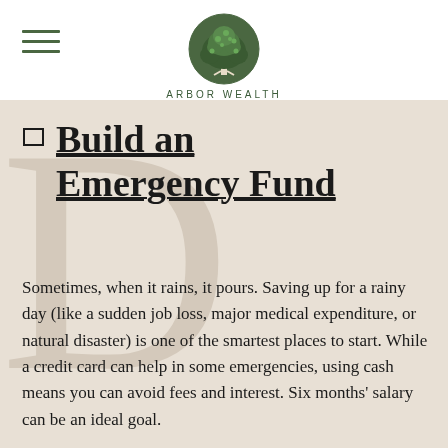[Figure (logo): Arbor Wealth logo: a green tree inside a circular emblem with the text ARBOR WEALTH below in spaced capital letters]
Build an Emergency Fund
Sometimes, when it rains, it pours. Saving up for a rainy day (like a sudden job loss, major medical expenditure, or natural disaster) is one of the smartest places to start. While a credit card can help in some emergencies, using cash means you can avoid fees and interest. Six months' salary can be an ideal goal.